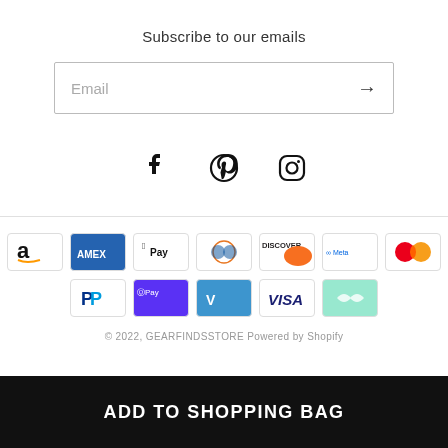Subscribe to our emails
Email
[Figure (other): Social media icons: Facebook, Pinterest, Instagram]
[Figure (other): Payment method icons: Amazon, Amex, Apple Pay, Diners Club, Discover, Meta Pay, Mastercard, PayPal, Shop Pay, Venmo, Visa, Elo]
© 2022, GEARFINDSSTORE Powered by Shopify
ADD TO SHOPPING BAG